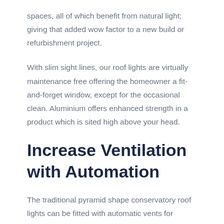spaces, all of which benefit from natural light; giving that added wow factor to a new build or refurbishment project.
With slim sight lines, our roof lights are virtually maintenance free offering the homeowner a fit-and-forget window, except for the occasional clean. Aluminium offers enhanced strength in a product which is sited high above your head.
Increase Ventilation with Automation
The traditional pyramid shape conservatory roof lights can be fitted with automatic vents for increased ventilation if required. In fact, with electric automation